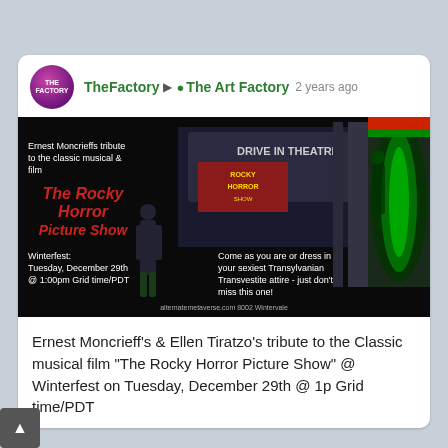TheFactory ▶ The Art Factory  2 years ago
[Figure (illustration): Event promotional image for The Rocky Horror Picture Show tribute at a virtual drive-in theatre. Shows 3D rendered characters in a sci-fi setting with text: Ernest Moncrieffs tribute to the classic musical & film, The Rocky Horror Picture Show, Winterfest: Tuesday, December 29th @ 1:00pm Grid time/PDT, Come as you are or dress in your sexiest Transylvanian Transvestite attire - just don't miss this one! alternativemetaverse.com 8002 Wintervale]
Ernest Moncrieff's & Ellen Tiratzo's tribute to the Classic musical film "The Rocky Horror Picture Show" @ Winterfest on Tuesday, December 29th @ 1p Grid time/PDT